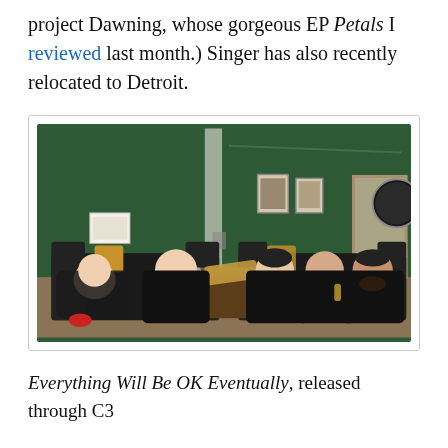project Dawning, whose gorgeous EP Petals I reviewed last month.) Singer has also recently relocated to Detroit.
[Figure (photo): Five young men seated in a green-walled backstage lounge/green room on black leather sofas around a wooden coffee table. Yellow throw pillows, framed pictures on the wall, and a guitar case visible.]
Everything Will Be OK Eventually, released through C3